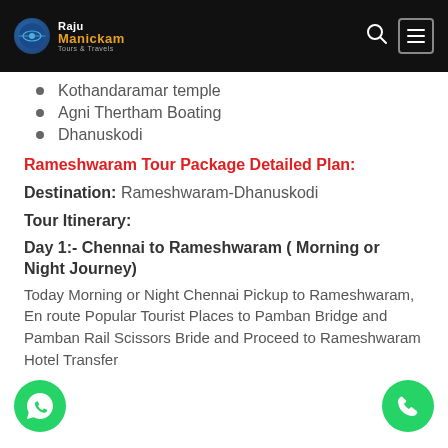RajuManickam Tours & Travels
Kothandaramar temple
Agni Thertham Boating
Dhanuskodi
Rameshwaram Tour Package Detailed Plan:
Destination: Rameshwaram-Dhanuskodi
Tour Itinerary:
Day 1:- Chennai to Rameshwaram ( Morning or Night Journey)
Today Morning or Night Chennai Pickup to Rameshwaram, En route Popular Tourist Places to Pamban Bridge and Pamban Rail Scissors Bride and Proceed to Rameshwaram Hotel Transfer